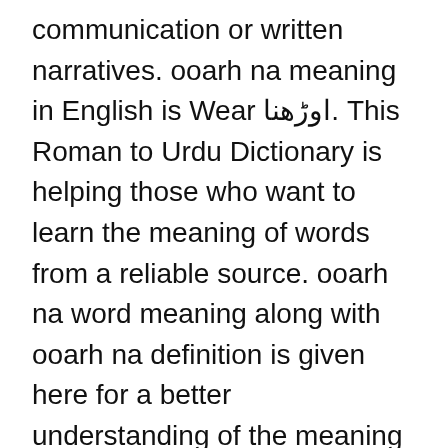communication or written narratives. ooarh na meaning in English is Wear اوڑھنا. This Roman to Urdu Dictionary is helping those who want to learn the meaning of words from a reliable source. ooarh na word meaning along with ooarh na definition is given here for a better understanding of the meaning of that word. We have provided here the detailed definition of ooarh na, it's meaning in English, and the correct pronunciation of the word.
Dictionary always plays a vital role in learning a new language as knowing the exact use of the word is important. Find the correct meaning of ooarh na in English with all the key details that include Pronunciation, Similar